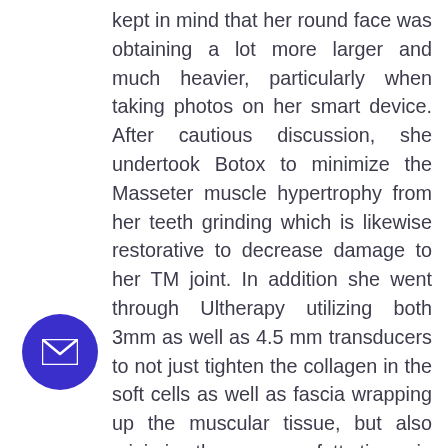kept in mind that her round face was obtaining a lot more larger and much heavier, particularly when taking photos on her smart device. After cautious discussion, she undertook Botox to minimize the Masseter muscle hypertrophy from her teeth grinding which is likewise restorative to decrease damage to her TM joint. In addition she went through Ultherapy utilizing both 3mm as well as 4.5 mm transducers to not just tighten the collagen in the soft cells as well as fascia wrapping up the muscular tissue, but also minimize the generous fatty tissue in her subcutaneous tissue layer along the jaw line and cheek location.
ent # 5 is a 64 year old waitress who still kes near a pack of cigarettes daily. She had lost a lot of her upper teeth years ago with